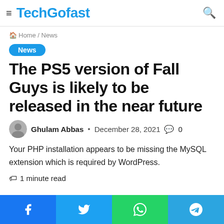TechGofast
Home / News
News
The PS5 version of Fall Guys is likely to be released in the near future
Ghulam Abbas · December 28, 2021 · 0
Your PHP installation appears to be missing the MySQL extension which is required by WordPress.
1 minute read